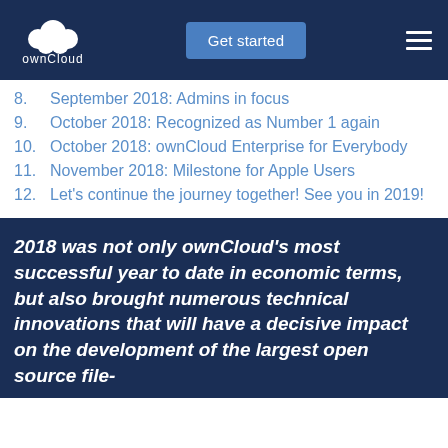ownCloud — Get started
8.  September 2018: Admins in focus
9.  October 2018: Recognized as Number 1 again
10.  October 2018: ownCloud Enterprise for Everybody
11.  November 2018: Milestone for Apple Users
12.  Let's continue the journey together! See you in 2019!
2018 was not only ownCloud's most successful year to date in economic terms, but also brought numerous technical innovations that will have a decisive impact on the development of the largest open source file-